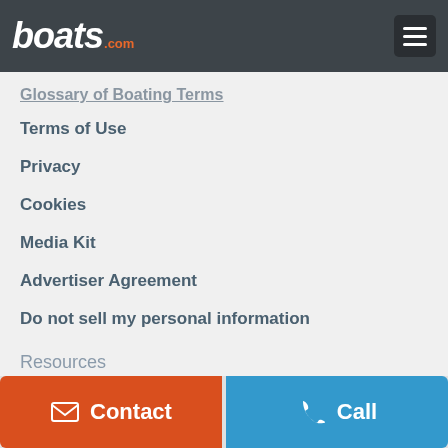boats.com
Glossary of Boating Terms
Terms of Use
Privacy
Cookies
Media Kit
Advertiser Agreement
Do not sell my personal information
Resources
NADA Guides
Insurance Quotes
Boat Transport
Follow boats.com